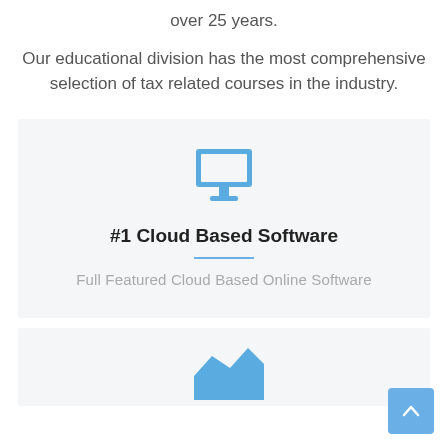over 25 years.
Our educational division has the most comprehensive selection of tax related courses in the industry.
[Figure (illustration): Blue monitor/desktop computer icon]
#1 Cloud Based Software
Full Featured Cloud Based Online Software
[Figure (illustration): Partial blue mountain/graph icon at bottom of page]
[Figure (illustration): Back to top arrow button, blue rounded square]